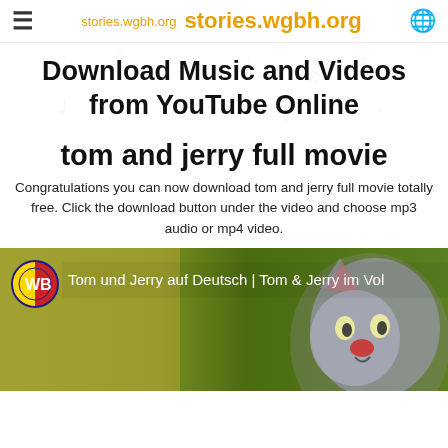stories.wgbh.org  stories.wgbh.org
Download Music and Videos from YouTube Online
tom and jerry full movie
Congratulations you can now download tom and jerry full movie totally free. Click the download button under the video and choose mp3 audio or mp4 video.
[Figure (screenshot): YouTube video thumbnail showing Tom and Jerry cartoon. WB logo badge on left. Title reads: Tom und Jerry auf Deutsch | Tom & Jerry im Vol. Shows Tom the cat character.]